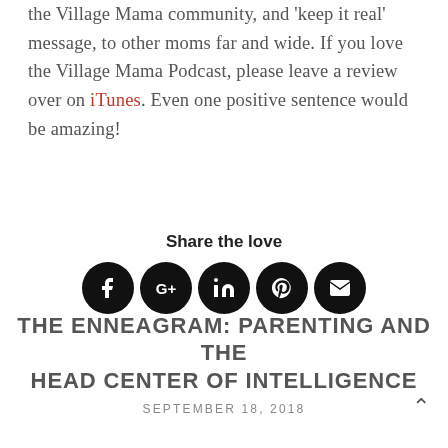the Village Mama community, and 'keep it real' message, to other moms far and wide. If you love the Village Mama Podcast, please leave a review over on iTunes. Even one positive sentence would be amazing!
Share the love
[Figure (infographic): Five black circular social media share icons: Facebook, Google+, LinkedIn, Pinterest, and Email/envelope]
THE ENNEAGRAM: PARENTING AND THE HEAD CENTER OF INTELLIGENCE
SEPTEMBER 18, 2018